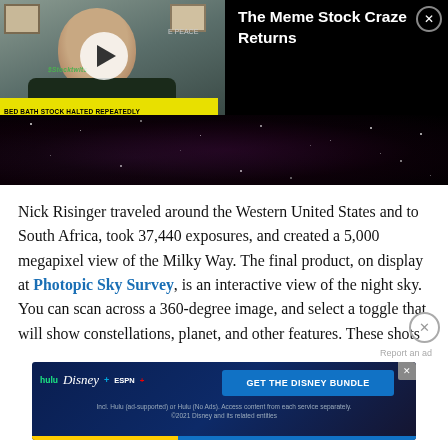[Figure (screenshot): Video thumbnail showing a news segment about meme stocks with title 'The Meme Stock Craze Returns' and ticker 'BED BATH STOCK HALTED REPEATEDLY', overlaid on a dark starfield/night sky image]
Nick Risinger traveled around the Western United States and to South Africa, took 37,440 exposures, and created a 5,000 megapixel view of the Milky Way. The final product, on display at Photopic Sky Survey, is an interactive view of the night sky. You can scan across a 360-degree image, and select a toggle that will show constellations, planet, and other features. These shots
[Figure (screenshot): Advertisement banner for Disney Bundle featuring Hulu, Disney+, and ESPN+ logos with 'GET THE DISNEY BUNDLE' call to action button]